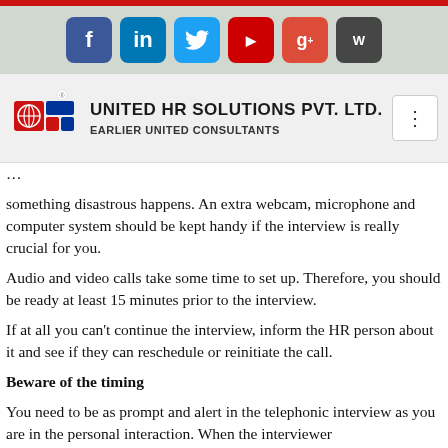[Figure (other): Top red bar]
[Figure (other): Social media icons bar with Facebook, LinkedIn, Twitter, YouTube, Google+, WordPress icons]
[Figure (logo): United HR Solutions Pvt. Ltd. logo with company name and subtitle 'Earlier United Consultants']
something disastrous happens. An extra webcam, microphone and computer system should be kept handy if the interview is really crucial for you.
Audio and video calls take some time to set up. Therefore, you should be ready at least 15 minutes prior to the interview.
If at all you can't continue the interview, inform the HR person about it and see if they can reschedule or reinitiate the call.
Beware of the timing
You need to be as prompt and alert in the telephonic interview as you are in the personal interaction. When the interviewer